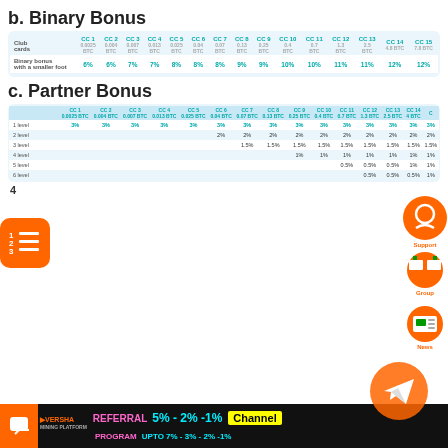b. Binary Bonus
| Club cards | CC 1 0.0025 BTC | CC 2 0.004 BTC | CC 3 0.007 BTC | CC 4 0.013 BTC | CC 5 0.025 BTC | CC 6 0.04 BTC | CC 7 0.07 BTC | CC 8 0.13 BTC | CC 9 0.25 BTC | CC 10 0.4 BTC | CC 11 0.7 BTC | CC 12 1.3 BTC | CC 13 2.5 BTC | CC 14 4.8 BTC | CC 15 7.8 BTC |
| --- | --- | --- | --- | --- | --- | --- | --- | --- | --- | --- | --- | --- | --- | --- | --- |
| Binary bonus with a smaller foot | 6% | 6% | 7% | 7% | 8% | 8% | 8% | 9% | 9% | 10% | 10% | 11% | 11% | 12% | 12% |
c. Partner Bonus
|  | CC 1 0.0025 BTC | CC 2 0.004 BTC | CC 3 0.007 BTC | CC 4 0.013 BTC | CC 5 0.025 BTC | CC 6 0.04 BTC | CC 7 0.07 BTC | CC 8 0.13 BTC | CC 9 0.25 BTC | CC 10 0.4 BTC | CC 11 0.7 BTC | CC 12 1.3 BTC | CC 13 2.5 BTC | CC 14 4 BTC |
| --- | --- | --- | --- | --- | --- | --- | --- | --- | --- | --- | --- | --- | --- | --- |
| 1 level | 3% | 3% | 3% | 3% | 3% | 3% | 3% | 3% | 3% | 3% | 3% | 3% | 3% | 3% |
| 2 level |  |  |  |  |  | 2% | 2% | 2% | 2% | 2% | 2% | 2% | 2% | 2% |
| 3 level |  |  |  |  |  |  | 1.5% | 1.5% | 1.5% | 1.5% | 1.5% | 1.5% | 1.5% | 1.5% |
| 4 level |  |  |  |  |  |  |  |  | 1% | 1% | 1% | 1% | 1% | 1% |
| 5 level |  |  |  |  |  |  |  |  |  |  | 0.5% | 0.5% | 0.5% | 1% |
| 6 level |  |  |  |  |  |  |  |  |  |  |  | 0.5% | 0.5% | 0.5% |
4
REFERRAL 5% - 2% -1% Channel PROGRAM UPTO 7% - 3% - 2% -1%